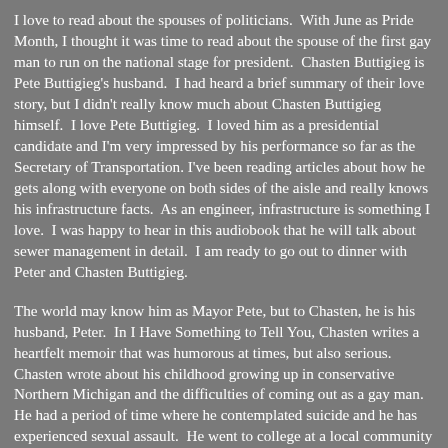I love to read about the spouses of politicians.  With June as Pride Month, I thought it was time to read about the spouse of the first gay man to run on the national stage for president.  Chasten Buttigieg is Pete Buttigieg's husband.  I had heard a brief summary of their love story, but I didn't really know much about Chasten Buttigieg himself.  I love Pete Buttigieg.  I loved him as a presidential candidate and I'm very impressed by his performance so far as the Secretary of Transportation. I've been reading articles about how he gets along with everyone on both sides of the aisle and really knows his infrastructure facts.  As an engineer, infrastructure is something I love.  I was happy to hear in this audiobook that he will talk about sewer management in detail.  I am ready to go out to dinner with Peter and Chasten Buttigieg.
The world may know him as Mayor Pete, but to Chasten, he is his husband, Peter.  In I Have Something to Tell You, Chasten writes a heartfelt memoir that was humorous at times, but also serious.  Chasten wrote about his childhood growing up in conservative Northern Michigan and the difficulties of coming out as a gay man.  He had a period of time where he contemplated suicide and he has experienced sexual assault.  He went to college at a local community college and then in Wisconsin at UW-Eau Claire.  He also went to college in Milwaukee as well.  He had been unlucky in love, until he met Peter Buttigieg.  Chasten was up front on their first date that he was looking for a serious relationship.  This